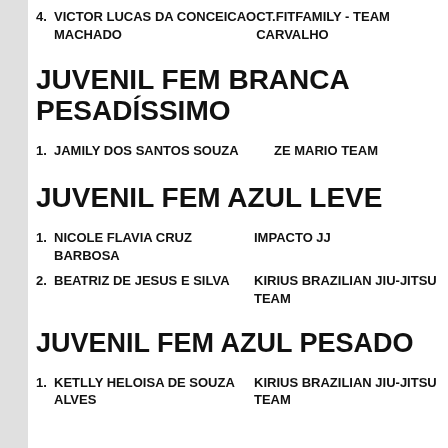4. VICTOR LUCAS DA CONCEICAO MACHADO  CT.FITFAMILY - TEAM CARVALHO
JUVENIL FEM BRANCA PESADÍSSIMO
1. JAMILY DOS SANTOS SOUZA  ZE MARIO TEAM
JUVENIL FEM AZUL LEVE
1. NICOLE FLAVIA CRUZ BARBOSA  IMPACTO JJ
2. BEATRIZ DE JESUS E SILVA  KIRIUS BRAZILIAN JIU-JITSU TEAM
JUVENIL FEM AZUL PESADO
1. KETLLY HELOISA DE SOUZA ALVES  KIRIUS BRAZILIAN JIU-JITSU TEAM